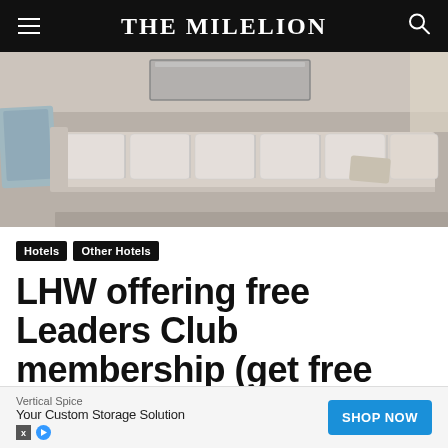THE MILELION
[Figure (photo): Hotel lounge interior showing a tufted sofa/bench, glass coffee table, and decorative pillow in grey and blue tones]
Hotels | Other Hotels
LHW offering free Leaders Club membership (get free breakfast and upgrades)
Vertical Spice Your Custom Storage Solution SHOP NOW